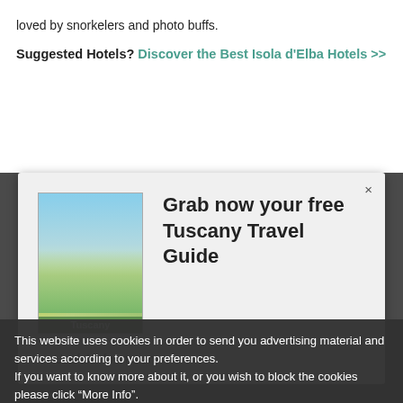loved by snorkelers and photo buffs.
Suggested Hotels? Discover the Best Isola d'Elba Hotels >>
[Figure (screenshot): Modal popup with Tuscany Travel Guide book cover image and text 'Grab now your free Tuscany Travel Guide' with a close button (×) and a list item 'Useful information']
This website uses cookies in order to send you advertising material and services according to your preferences.
If you want to know more about it, or you wish to block the cookies please click "More Info".
By closing this banner, scrolling this page, clicking a link or continuing to browse otherwise, you agree to the use of cookies.
OK
MORE INFO